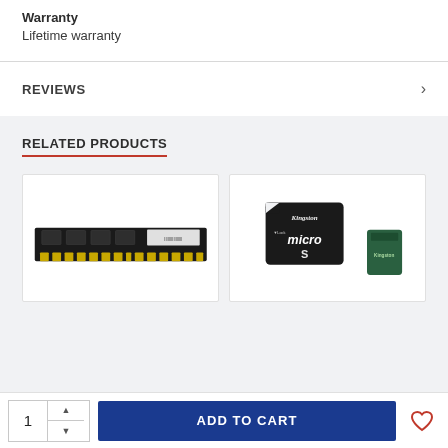Warranty
Lifetime warranty
REVIEWS
RELATED PRODUCTS
[Figure (photo): RAM memory module (DIMM stick), black PCB with heat spreader and label sticker]
[Figure (photo): Kingston microSD memory card with adapter]
ADD TO CART